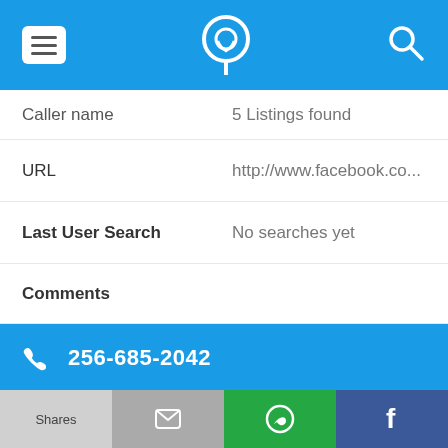[Figure (screenshot): Mobile app top navigation bar with menu icon (hamburger), phone/location logo icon, and search icon on blue background]
Caller name    5 Listings found
URL    http://www.facebook.co...
Last User Search    No searches yet
Comments
256-685-2042
Alternate Form    2566852042
Caller name    4 Listings found
[Figure (screenshot): Bottom action bar with Shares button (gray), mail icon button (gray), WhatsApp icon button (green), Facebook icon button (blue)]